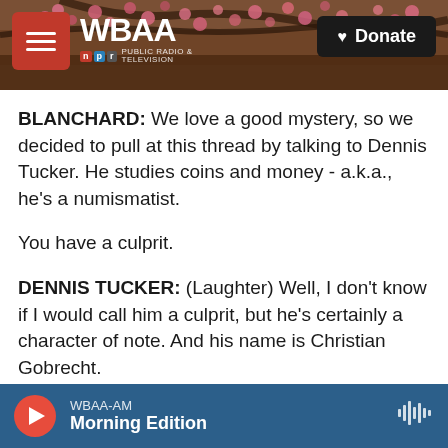[Figure (screenshot): WBAA radio website header with tree blossoms background, red hamburger menu, WBAA NPR logo, and black Donate button]
BLANCHARD: We love a good mystery, so we decided to pull at this thread by talking to Dennis Tucker. He studies coins and money - a.k.a., he's a numismatist.
You have a culprit.
DENNIS TUCKER: (Laughter) Well, I don't know if I would call him a culprit, but he's certainly a character of note. And his name is Christian Gobrecht.
BLANCHARD: Christian Gobrecht was an artist born
WBAA-AM Morning Edition